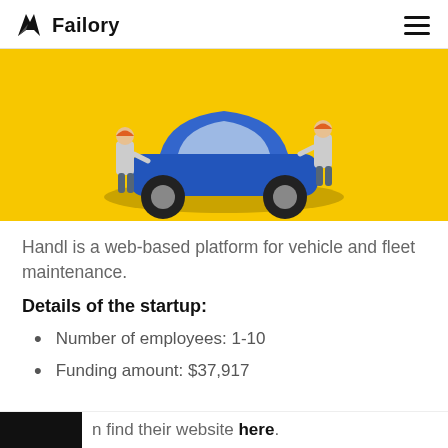Failory
[Figure (illustration): Yellow background with isometric illustration of two mechanics working on a blue car, one at the front and one at the rear.]
Handl is a web-based platform for vehicle and fleet maintenance.
Details of the startup:
Number of employees: 1-10
Funding amount: $37,917
You can find their website here.